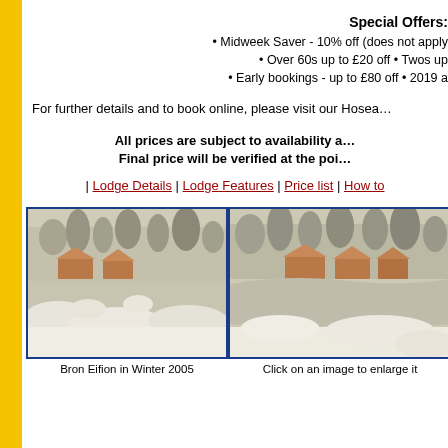Special Offers:
Midweek Saver - 10% off (does not apply...
Over 60s up to £20 off • Twos up...
Early bookings - up to £80 off • 2019 a...
For further details and to book online, please visit our Hosea...
All prices are subject to availability a... Final price will be verified at the poi...
| Lodge Details | Lodge Features | Price list | How to...
[Figure (photo): Bron Eifion lodge site in Winter 2005, showing snow-covered trees and pond with wooden lodges]
Bron Eifion in Winter 2005
[Figure (photo): Lodge site in winter, showing frozen pond and snow-covered lodges and trees]
Click on an image to enlarge it